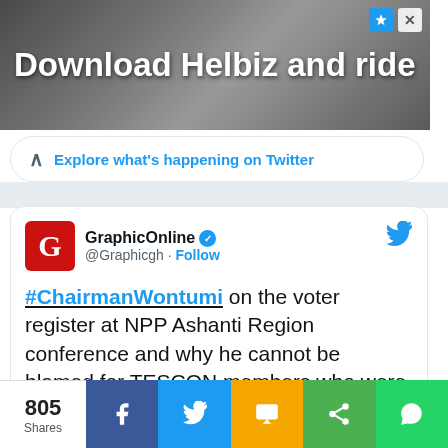[Figure (screenshot): Advertisement banner for Helbiz scooter app with text 'Download Helbiz and ride' over a blurred scooter image]
Explore what's happening on Twitter
[Figure (screenshot): Tweet from GraphicOnline (@Graphicgh) with verified badge: '#ChairmanWontumi on the voter register at NPP Ashanti Region conference and why he cannot be blamed for TESCON members who were unable to become delegates but other names were presented']
805 Shares